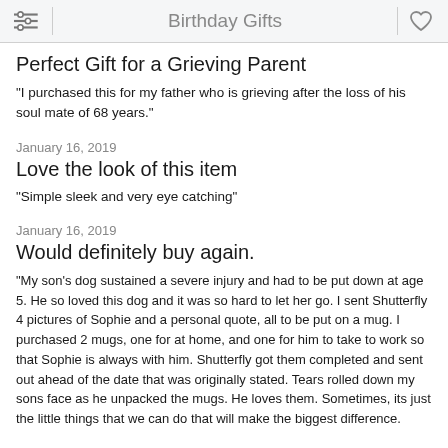Birthday Gifts
Perfect Gift for a Grieving Parent
"I purchased this for my father who is grieving after the loss of his soul mate of 68 years."
January 16, 2019
Love the look of this item
"Simple sleek and very eye catching"
January 16, 2019
Would definitely buy again.
"My son's dog sustained a severe injury and had to be put down at age 5. He so loved this dog and it was so hard to let her go. I sent Shutterfly 4 pictures of Sophie and a personal quote, all to be put on a mug. I purchased 2 mugs, one for at home, and one for him to take to work so that Sophie is always with him. Shutterfly got them completed and sent out ahead of the date that was originally stated. Tears rolled down my sons face as he unpacked the mugs. He loves them. Sometimes, its just the little things that we can do that will make the biggest difference.